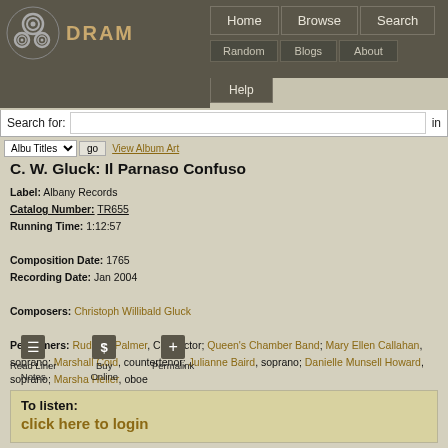DRAM — Home | Browse | Search | Random | Blogs | About | Help
C. W. Gluck: Il Parnaso Confuso
Label: Albany Records
Catalog Number: TR655
Running Time: 1:12:57

Composition Date: 1765
Recording Date: Jan 2004

Composers: Christoph Willibald Gluck

Performers: Rudolph Palmer, Conductor; Queen's Chamber Band; Mary Ellen Callahan, soprano; Marshall Coid, countertenor; Julianne Baird, soprano; Danielle Munsell Howard, soprano; Marsha Heller, oboe

Tags: opera
Read Liner Notes | Buy Online | Permalink
To listen:
click here to login